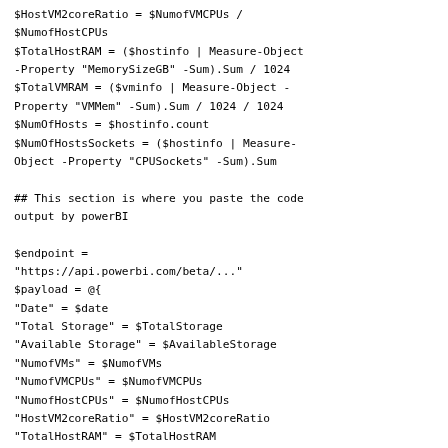$HostVM2coreRatio = $NumofVMCPUs / $NumofHostCPUs
$TotalHostRAM = ($hostinfo | Measure-Object -Property "MemorySizeGB" -Sum).Sum / 1024
$TotalVMRAM = ($vminfo | Measure-Object -Property "VMMem" -Sum).Sum / 1024 / 1024
$NumOfHosts = $hostinfo.count
$NumOfHostsSockets = ($hostinfo | Measure-Object -Property "CPUSockets" -Sum).Sum

## This section is where you paste the code output by powerBI

$endpoint =
"https://api.powerbi.com/beta/..."
$payload = @{
"Date" = $date
"Total Storage" = $TotalStorage
"Available Storage" = $AvailableStorage
"NumofVMs" = $NumofVMs
"NumofVMCPUs" = $NumofVMCPUs
"NumofHostCPUs" = $NumofHostCPUs
"HostVM2coreRatio" = $HostVM2coreRatio
"TotalHostRAM" = $TotalHostRAM
"TotalVMRAM" = $TotalVMRAM